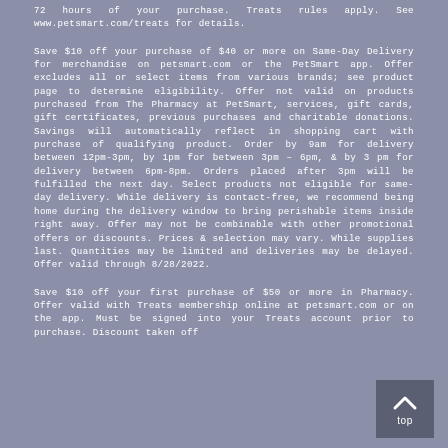72 hours of your purchase. Treats rules apply. See www.petsmart.com/treats for details.
Save $10 off your purchase of $40 or more on Same-Day Delivery for merchandise on petsmart.com or the PetSmart app. Offer excludes all or select items from various brands; see product page to determine eligibility. Offer not valid on products purchased from The Pharmacy at PetSmart, services, gift cards, gift certificates, previous purchases and charitable donations. Savings will automatically reflect in shopping cart with purchase of qualifying product. Order by 9am for delivery between 12pm-3pm, by 1pm for between 3pm – 6pm, & by 3 pm for delivery between 6pm-8pm. Orders placed after 3pm will be fulfilled the next day. Select products not eligible for same-day delivery. While delivery is contact-free, we recommend being home during the delivery window to bring perishable items inside right away. Offer may not be combinable with other promotional offers or discounts. Prices & selection may vary. While supplies last. Quantities may be limited and deliveries may be delayed. Offer valid through 8/28/2022.
Save $10 off your first purchase of $50 or more in Pharmacy. Offer valid with Treats membership online at petsmart.com or on the app. Must be signed into your Treats account prior to purchase. Discount taken off